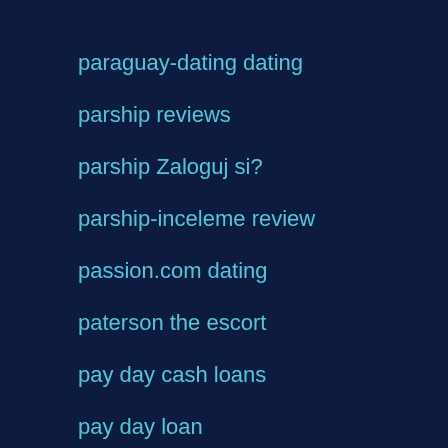paraguay-dating dating
parship reviews
parship Zaloguj si?
parship-inceleme review
passion.com dating
paterson the escort
pay day cash loans
pay day loan
pay day loans near me
payday advance loan